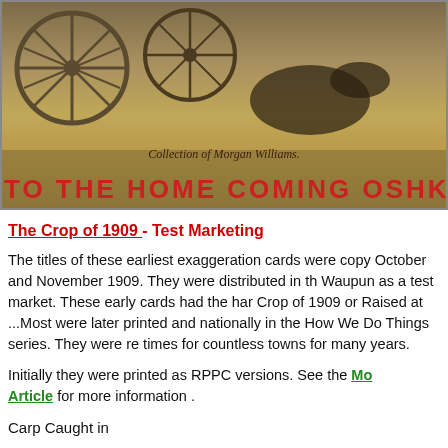[Figure (photo): Sepia-toned historical photograph showing horse-drawn carriages/wagons with large wheels. Text overlay reads 'Collection of Morgan Williams' and large red banner text 'TO THE HOME COMING OSHKOSH']
The Crop of 1909 - Test Marketing
The titles of these earliest exaggeration cards were copy October and November 1909. They were distributed in th Waupun as a test market. These early cards had the har Crop of 1909 or Raised at ...Most were later printed and nationally in the How We Do Things series. They were re times for countless towns for many years.
Initially they were printed as RPPC versions. See the Mo Article for more information .
Carp Caught in